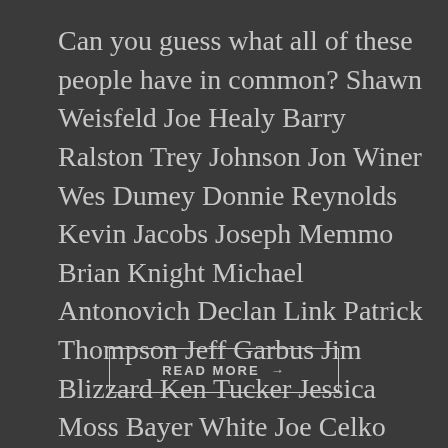Can you guess what all of these people have in common? Shawn Weisfeld Joe Healy Barry Ralston Trey Johnson Jon Winer Wes Dumey Donnie Reynolds Kevin Jacobs Joseph Memmo Brian Knight Michael Antonovich Declan Link Patrick Thompson Jeff Garbus Jim Blizzard Ken Tucker Jessica Moss Bayer White Joe Celko Judy Pipia Jean-Claud Armand Michael Wells [...]
READ MORE →